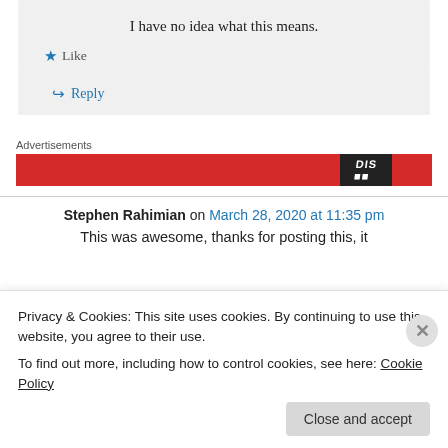I have no idea what this means.
★ Like
↳ Reply
Advertisements
[Figure (other): Red advertisement banner with dark badge]
Stephen Rahimian on March 28, 2020 at 11:35 pm
This was awesome, thanks for posting this, it
Privacy & Cookies: This site uses cookies. By continuing to use this website, you agree to their use.
To find out more, including how to control cookies, see here: Cookie Policy
Close and accept